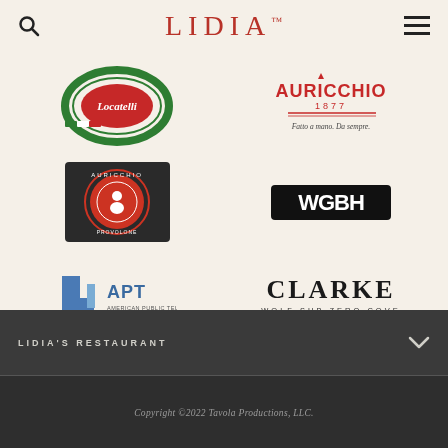LIDIA™
[Figure (logo): Locatelli cheese brand logo — circular green and red logo with Italian flag colors]
[Figure (logo): Auricchio 1877 brand logo — red text with tagline 'Fatto a mano. Da sempre.']
[Figure (logo): Auricchio round badge logo on dark background]
[Figure (logo): WGBH public media logo in black bold block letters]
[Figure (logo): APT (American Public Television) logo with blue geometric graphic]
[Figure (logo): CLARKE Wolf Sub-Zero Cove appliance brand logo in dark serif text]
[Figure (logo): San Benedetto water brand logo with bird and blue gradient]
LIDIA'S RESTAURANT
Copyright ©2022 Tavola Productions, LLC.